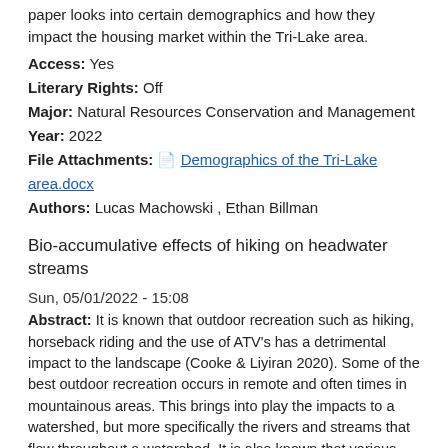paper looks into certain demographics and how they impact the housing market within the Tri-Lake area.
Access: Yes
Literary Rights: Off
Major: Natural Resources Conservation and Management
Year: 2022
File Attachments: Demographics of the Tri-Lake area.docx
Authors: Lucas Machowski , Ethan Billman
Bio-accumulative effects of hiking on headwater streams
Sun, 05/01/2022 - 15:08
Abstract: It is known that outdoor recreation such as hiking, horseback riding and the use of ATV's has a detrimental impact to the landscape (Cooke & Liyiran 2020). Some of the best outdoor recreation occurs in remote and often times in mountainous areas. This brings into play the impacts to a watershed, but more specifically the rivers and streams that flow throughout a watershed. It is also known that various types of outdoor recreation has detrimental impacts on these river systems (Cooke & Liyiran 2020). This brings into focus the main topic of my study which is the impacts that hiking has on headwater streams and the possible effects this can have across the landscape. This is an important field of study...